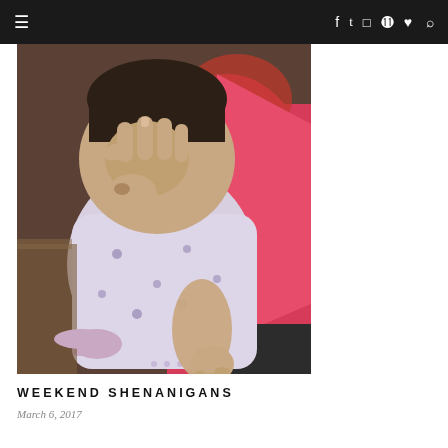≡  f  t  ◻  ⊕  ♥  🔍
[Figure (photo): A baby wearing a light purple/white onesie with dinosaur print covering its face with one hand, being held by a person in a bright pink/red top. Indoor setting.]
WEEKEND SHENANIGANS
March 6, 2017